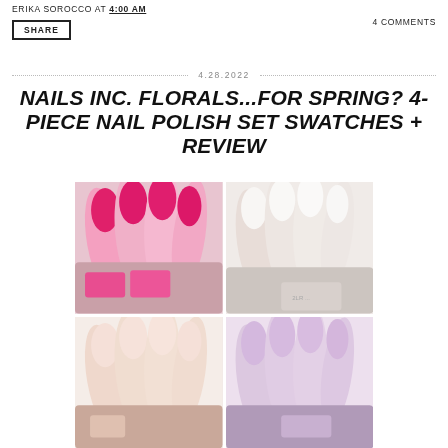ERIKA SOROCCO AT 4:00 AM
4 COMMENTS
SHARE
4.28.2022
NAILS INC. FLORALS...FOR SPRING? 4-PIECE NAIL POLISH SET SWATCHES + REVIEW
[Figure (photo): Four-panel grid of nail polish swatches on hands: top-left shows hot pink/magenta nails, top-right shows white nails, bottom-left shows sheer nude/blush pink nails, bottom-right shows lavender/lilac nails.]